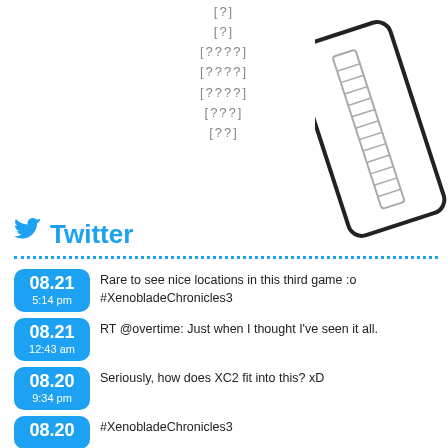[unrenderable characters - vertical list of placeholder boxes]
[Figure (illustration): A rotated smartphone/phone device illustration showing a ladder or filmstrip element on its screen, rendered as a line drawing with rounded corners.]
Twitter
08.21 5:14 pm — Rare to see nice locations in this third game :o #XenobladeChronicles3
08.21 12:43 am — RT @overtime: Just when I thought I've seen it all.
08.20 9:34 pm — Seriously, how does XC2 fit into this? xD
08.20 — #XenobladeChronicles3